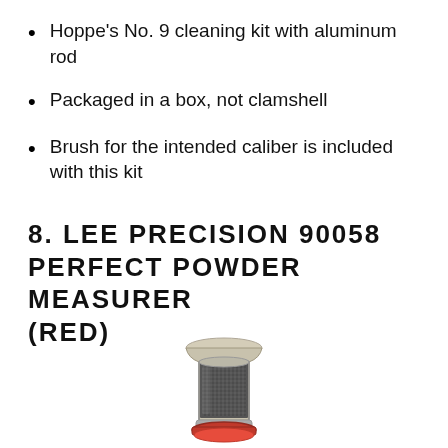Hoppe's No. 9 cleaning kit with aluminum rod
Packaged in a box, not clamshell
Brush for the intended caliber is included with this kit
8. LEE PRECISION 90058 PERFECT POWDER MEASURER (RED)
[Figure (photo): Lee Precision 90058 Perfect Powder Measurer product photo showing a cylindrical red powder measure device filled with dark powder granules, with a funnel top and red base.]